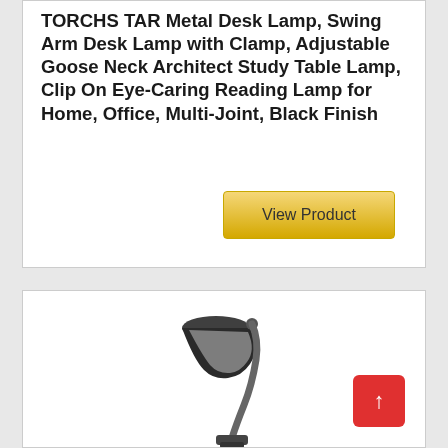TORCHS TAR Metal Desk Lamp, Swing Arm Desk Lamp with Clamp, Adjustable Goose Neck Architect Study Table Lamp, Clip On Eye-Caring Reading Lamp for Home, Office, Multi-Joint, Black Finish
[Figure (screenshot): Golden 'View Product' button]
[Figure (photo): Black gooseneck desk lamp with clamp base, photographed on white background]
[Figure (infographic): Red scroll-to-top button with upward arrow]